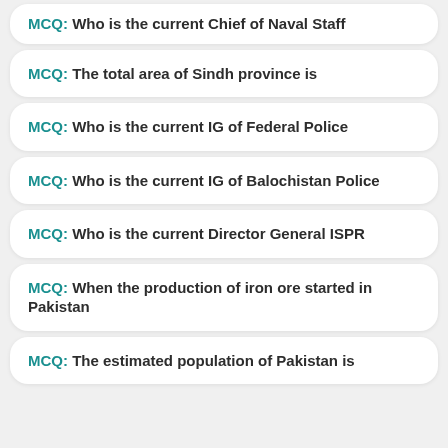MCQ: Who is the current Chief of Naval Staff
MCQ: The total area of Sindh province is
MCQ: Who is the current IG of Federal Police
MCQ: Who is the current IG of Balochistan Police
MCQ: Who is the current Director General ISPR
MCQ: When the production of iron ore started in Pakistan
MCQ: The estimated population of Pakistan is